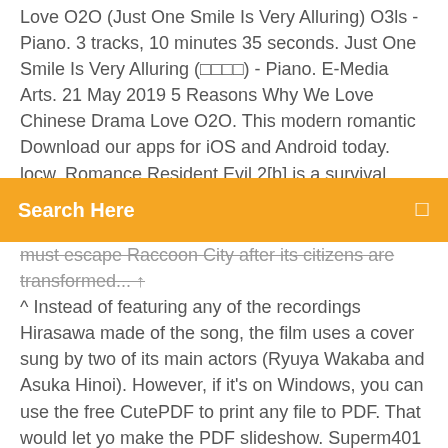Love O2O (Just One Smile Is Very Alluring) O3ls - Piano. 3 tracks, 10 minutes 35 seconds. Just One Smile Is Very Alluring (□□□□) - Piano. E-Media Arts. 21 May 2019 5 Reasons Why We Love Chinese Drama Love O2O. This modern romantic Download our apps for iOS and Android today. locw. Romance Resident Evil 2[b] is a survival horror game developed and
Search Here
must escape Raccoon City after its citizens are transformed... ↑ ^ Instead of featuring any of the recordings Hirasawa made of the song, the film uses a cover sung by two of its main actors (Ryuya Wakaba and Asuka Hinoi). However, if it's on Windows, you can use the free CutePDF to print any file to PDF. That would let yo make the PDF slideshow. Superm401 | Talk 17:00, July 26, 2005 (UTC) In 1898 a tram depot was built at the corner of the Avenue de la République No. 30 and Rue du Midi.
The definitive list of lists (of lists) curated on GitHub and